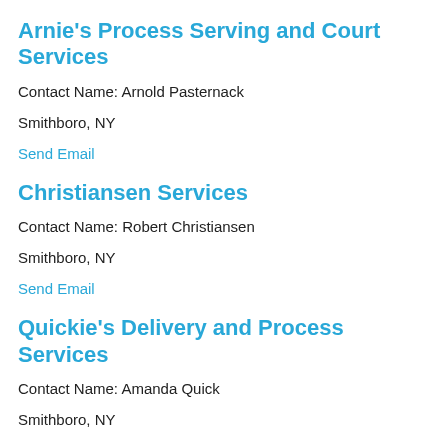Arnie's Process Serving and Court Services
Contact Name: Arnold Pasternack
Smithboro, NY
Send Email
Christiansen Services
Contact Name: Robert Christiansen
Smithboro, NY
Send Email
Quickie's Delivery and Process Services
Contact Name: Amanda Quick
Smithboro, NY